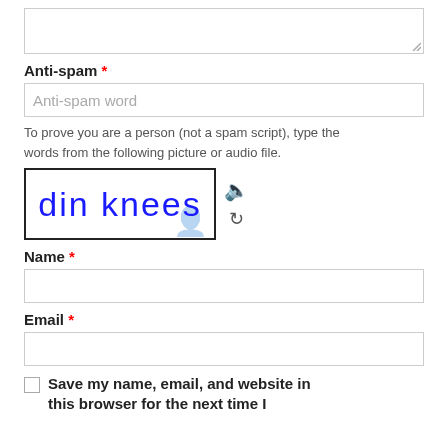[Figure (other): A textarea input field (partially shown at top of page)]
Anti-spam *
[Figure (other): Anti-spam text input field with placeholder 'Anti-spam word']
To prove you are a person (not a spam script), type the words from the following picture or audio file.
[Figure (other): CAPTCHA image showing handwritten text 'din knees' in blue on white background with ghost watermark, alongside speaker and refresh icons]
Name *
[Figure (other): Name text input field (empty)]
Email *
[Figure (other): Email text input field (empty)]
Save my name, email, and website in this browser for the next time I